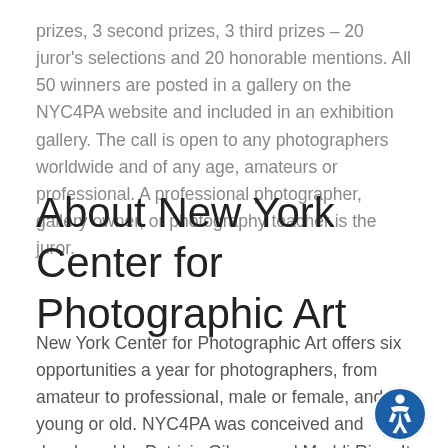prizes, 3 second prizes, 3 third prizes – 20 juror's selections and 20 honorable mentions. All 50 winners are posted in a gallery on the NYC4PA website and included in an exhibition gallery. The call is open to any photographers worldwide and of any age, amateurs or professional. A professional photographer, gallery owner, or photography teacher is the juror.
About New York Center for Photographic Art
New York Center for Photographic Art offers six opportunities a year for photographers, from amateur to professional, male or female, and young or old. NYC4PA was conceived and developed by Patricia Gilman and Maddi Ring. It offers photographers from around the opportunities to exhibit their work in New York. Maddi and